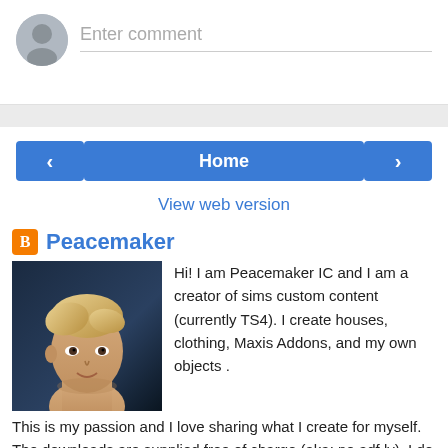[Figure (screenshot): Comment input area with gray user avatar circle and 'Enter comment' placeholder text on a line]
[Figure (screenshot): Navigation bar with left arrow button, Home button, and right arrow button, all in blue]
View web version
[Figure (photo): Profile photo of a male Sims character with blonde hair]
Peacemaker
Hi! I am Peacemaker IC and I am a creator of sims custom content (currently TS4). I create houses, clothing, Maxis Addons, and my own objects . This is my passion and I love sharing what I create for myself. The downloads are supplied free of charge (aka: no adf.ly). I do not take requests so please do not ask. I hope you enjoy my creations and thank you for visiting my blog.
View my complete profile
Powered by Blogger.